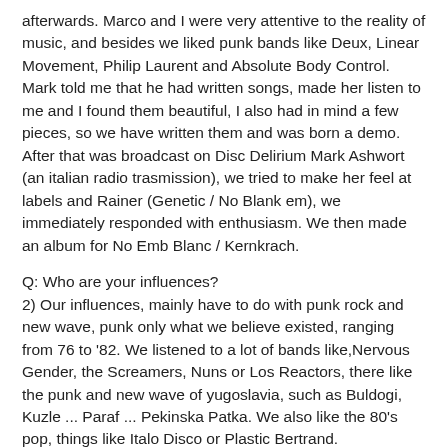afterwards. Marco and I were very attentive to the reality of music, and besides we liked punk bands like Deux, Linear Movement, Philip Laurent and Absolute Body Control. Mark told me that he had written songs, made her listen to me and I found them beautiful, I also had in mind a few pieces, so we have written them and was born a demo. After that was broadcast on Disc Delirium Mark Ashwort (an italian radio trasmission), we tried to make her feel at labels and Rainer (Genetic / No Blank em), we immediately responded with enthusiasm. We then made an album for No Emb Blanc / Kernkrach.
Q: Who are your influences?
2) Our influences, mainly have to do with punk rock and new wave, punk only what we believe existed, ranging from 76 to '82. We listened to a lot of bands like,Nervous Gender, the Screamers, Nuns or Los Reactors, there like the punk and new wave of yugoslavia, such as Buldogi, Kuzle ... Paraf ... Pekinska Patka. We also like the 80's pop, things like Italo Disco or Plastic Bertrand.
Q. Made a list of 5 albuns of all time.